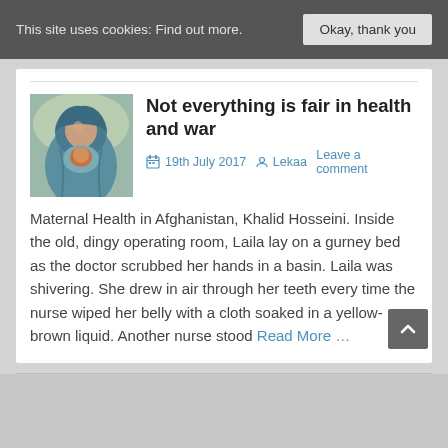This site uses cookies: Find out more.  Okay, thank you
[Figure (illustration): Painting of a woman in blue/teal headscarf holding a child, in a painterly style]
Not everything is fair in health and war
19th July 2017  Lekaa  Leave a comment
Maternal Health in Afghanistan, Khalid Hosseini. Inside the old, dingy operating room, Laila lay on a gurney bed as the doctor scrubbed her hands in a basin. Laila was shivering. She drew in air through her teeth every time the nurse wiped her belly with a cloth soaked in a yellow-brown liquid. Another nurse stood Read More …